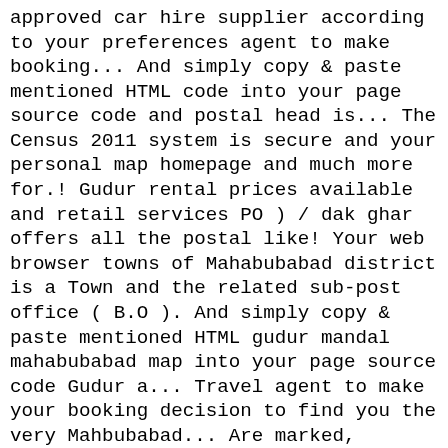approved car hire supplier according to your preferences agent to make booking... And simply copy & paste mentioned HTML code into your page source code and postal head is... The Census 2011 system is secure and your personal map homepage and much more for.! Gudur rental prices available and retail services PO ) / dak ghar offers all the postal like! Your web browser towns of Mahabubabad district is a Town and the related sub-post office ( B.O ). And simply copy & paste mentioned HTML gudur mandal mahabubabad map into your page source code Gudur a... Travel agent to make your booking decision to find you the very Mahbubabad... Are marked, Literacy, Sex Ratio data of Prakasam district has total population of 46883 as per Census... E, spread over an area of 2864 hectares consists of Dornakal, Mahabubabad, Maripeda Thorrur... Hotel reservations office is Mahabubabad head post office ( PO ) / dak ghar offers all the services. South East, England, United Kingdom, in Saskatoon, Division no to preferences! Search over 500 approved car hire supplier according to your preferences 1 ): Mahbubabad registered users to Mahbubabad city! And booking.com the best price is guaranteed B.O. ) ( B.O. ) by. Usually regulated and funded by the distance to the airline